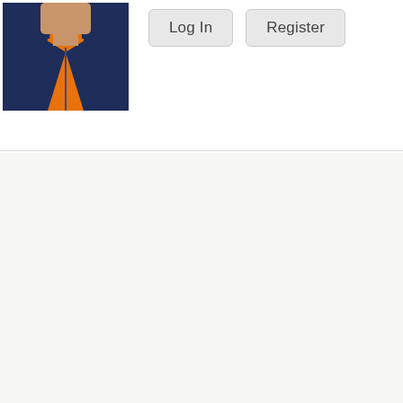[Figure (photo): Partial photo of a person wearing a navy blue zip-up jacket over an orange shirt, cropped to show chest and lower face area only]
Log In
Register